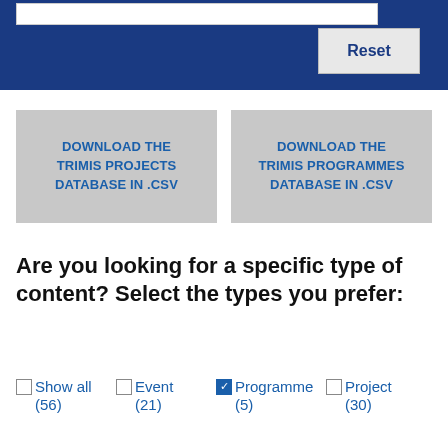[Figure (screenshot): Blue navigation bar with search box and Reset button]
DOWNLOAD THE TRIMIS PROJECTS DATABASE IN .CSV
DOWNLOAD THE TRIMIS PROGRAMMES DATABASE IN .CSV
Are you looking for a specific type of content? Select the types you prefer:
Show all (56)
Event (21)
Programme (5)
Project (30)